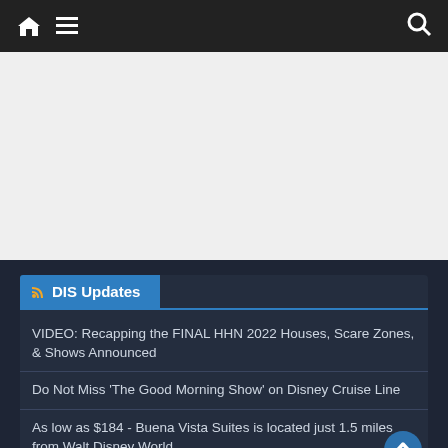Navigation bar with home icon, menu icon, and search icon
[Figure (other): Gray advertisement/banner placeholder area]
DIS Updates
VIDEO: Recapping the FINAL HHN 2022 Houses, Scare Zones, & Shows Announced
Do Not Miss 'The Good Morning Show' on Disney Cruise Line
As low as $184 - Buena Vista Suites is located just 1.5 miles from Walt Disney World